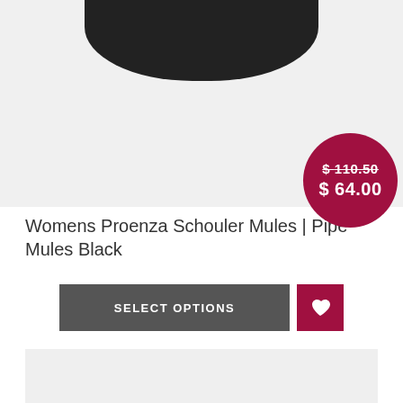[Figure (photo): Product photo area showing top portion of black mules shoe on light gray background, with a circular dark pink/crimson price badge in the bottom right showing strikethrough original price $110.50 and sale price $64.00]
Womens Proenza Schouler Mules | Pipe Mules Black
SELECT OPTIONS (button) and heart/wishlist button
[Figure (photo): Bottom portion of page showing a second product card with a SALE! badge in dark pink/crimson on a light gray background]